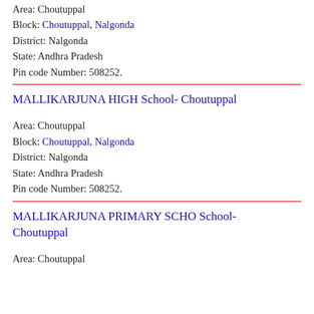Area: Choutuppal
Block: Choutuppal, Nalgonda
District: Nalgonda
State: Andhra Pradesh
Pin code Number: 508252.
MALLIKARJUNA HIGH School- Choutuppal
Area: Choutuppal
Block: Choutuppal, Nalgonda
District: Nalgonda
State: Andhra Pradesh
Pin code Number: 508252.
MALLIKARJUNA PRIMARY SCHO School- Choutuppal
Area: Choutuppal